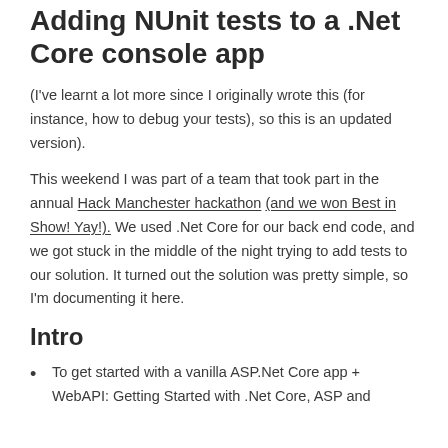Adding NUnit tests to a .Net Core console app
(I've learnt a lot more since I originally wrote this (for instance, how to debug your tests), so this is an updated version).
This weekend I was part of a team that took part in the annual Hack Manchester hackathon (and we won Best in Show! Yay!). We used .Net Core for our back end code, and we got stuck in the middle of the night trying to add tests to our solution. It turned out the solution was pretty simple, so I'm documenting it here.
Intro
To get started with a vanilla ASP.Net Core app + WebAPI: Getting Started with .Net Core, ASP and